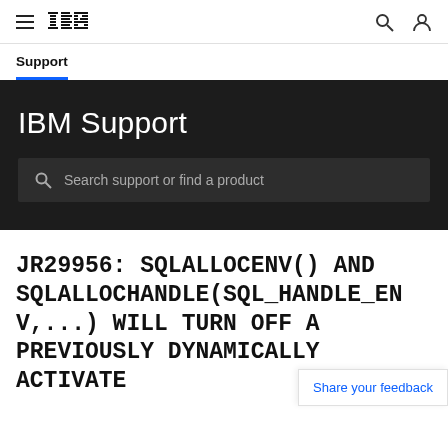IBM (logo) | Support
Support
IBM Support
Search support or find a product
JR29956: SQLALLOCENV() AND SQLALLOCHANDLE(SQL_HANDLE_ENV,...) WILL TURN OFF A PREVIOUSLY DYNAMICALLY ACTIVATE